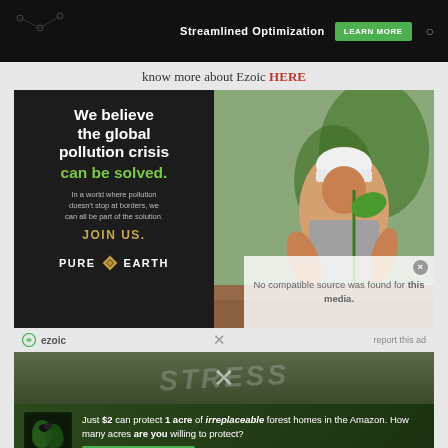[Figure (screenshot): Dark tech banner ad with 'Streamlined Optimization' text and 'LEARN MORE' green button]
know more about Ezoic HERE
[Figure (infographic): Pure Earth ad: dark background with white bold text 'We believe the global pollution crisis can be solved.' in green, body text about pollution, 'JOIN US.' in gold, Pure Earth logo at bottom. Right side shows photo of man in hard hat planting a tree.]
No compatible source was found for this media.
[Figure (screenshot): Ezoic badge bar with 'report this ad' text and X close button]
[Figure (photo): Dark background image with stylized 'STRESS' text overlay and an X mark]
[Figure (infographic): Amazon rainforest ad: 'Just $2 can protect 1 acre of irreplaceable forest homes in the Amazon. How many acres are you willing to protect?' with 'PROTECT FORESTS NOW' green button]